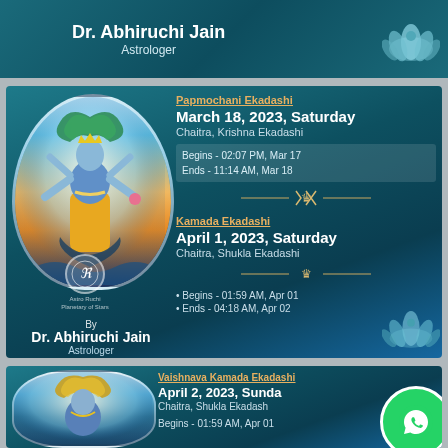Dr. Abhiruchi Jain
Astrologer
[Figure (photo): Hindu deity Vishnu standing on serpent, multi-armed, in ornate divine form with lotus flower]
Papmochani Ekadashi
March 18, 2023, Saturday
Chaitra, Krishna Ekadashi
Begins - 02:07 PM, Mar 17
Ends - 11:14 AM, Mar 18
Kamada Ekadashi
April 1, 2023, Saturday
Chaitra, Shukla Ekadashi
Begins - 01:59 AM, Apr 01
Ends - 04:18 AM, Apr 02
By
Dr. Abhiruchi Jain
Astrologer
[Figure (photo): Hindu deity Vishnu partial view at bottom of page]
Vaishnava Kamada Ekadashi
April 2, 2023, Sunday
Chaitra, Shukla Ekadashi
Begins - 01:59 AM, Apr 01